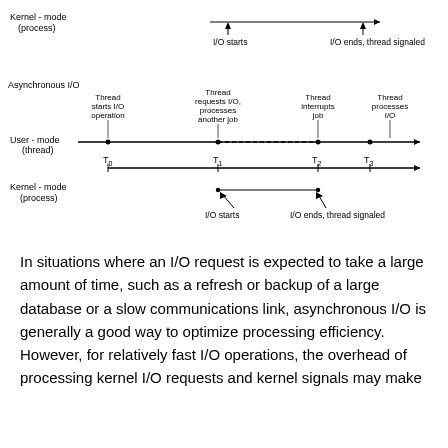[Figure (engineering-diagram): Timing diagram showing Asynchronous I/O with User-mode (thread) and Kernel-mode (process) timelines. Top section shows Kernel-mode with I/O starts and I/O ends/thread signaled arrows. Bottom Asynchronous I/O section shows User-mode thread timeline with labels: Thread starts I/O operation (T0), Thread requests I/O processes another job (T1), Thread interrupts job (T2), Thread processes I/O (T3). Kernel-mode shows I/O starts at T1 and I/O ends thread signaled at T2.]
In situations where an I/O request is expected to take a large amount of time, such as a refresh or backup of a large database or a slow communications link, asynchronous I/O is generally a good way to optimize processing efficiency. However, for relatively fast I/O operations, the overhead of processing kernel I/O requests and kernel signals may make